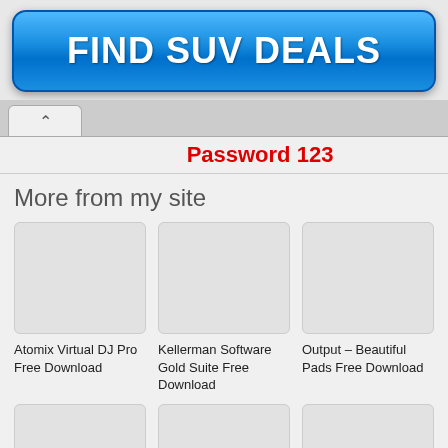[Figure (other): Blue gradient button with text FIND SUV DEALS]
Password 123
More from my site
[Figure (other): Thumbnail placeholder image]
[Figure (other): Thumbnail placeholder image]
[Figure (other): Thumbnail placeholder image]
Atomix Virtual DJ Pro Free Download
Kellerman Software Gold Suite Free Download
Output – Beautiful Pads Free Download
[Figure (other): Thumbnail placeholder image bottom row left]
[Figure (other): Thumbnail placeholder image bottom row center]
[Figure (other): Thumbnail placeholder image bottom row right]